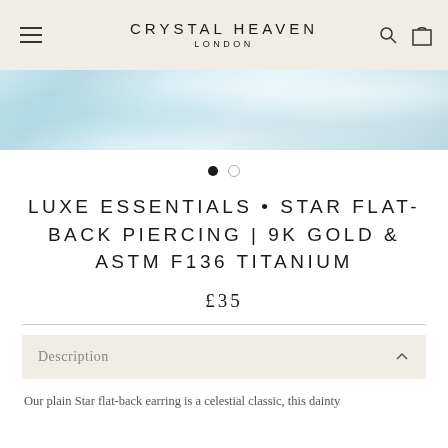CRYSTAL HEAVEN LONDON
[Figure (photo): Light blue and white marble or crystal texture banner image]
LUXE ESSENTIALS • STAR FLAT-BACK PIERCING | 9K GOLD & ASTM F136 TITANIUM
£35
Description
Our plain Star flat-back earring is a celestial classic, this dainty